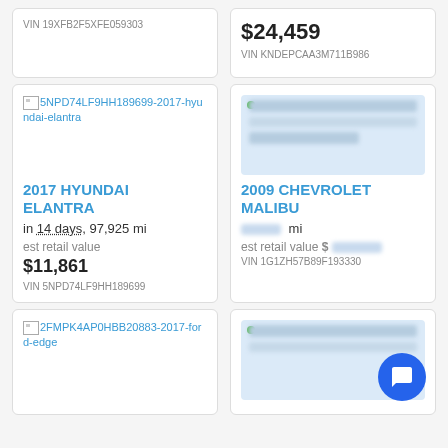VIN 19XFB2F5XFE059303
$24,459
VIN KNDEPCAA3M711B986
[Figure (screenshot): Car listing card for 2017 Hyundai Elantra with broken image placeholder showing VIN 5NPD74LF9HH189699-2017-hyundai-elantra]
[Figure (screenshot): Car listing card for 2009 Chevrolet Malibu with blurred image]
2017 HYUNDAI ELANTRA
in 14 days, 97,925 mi
est retail value
$11,861
VIN 5NPD74LF9HH189699
2009 CHEVROLET MALIBU
est retail value $
VIN 1G1ZH57B89F193330
[Figure (screenshot): Car listing card for 2017 Ford Edge with broken image placeholder showing VIN 2FMPK4AP0HBB20883-2017-ford-edge]
[Figure (screenshot): Car listing card with blurred image and chat button overlay]